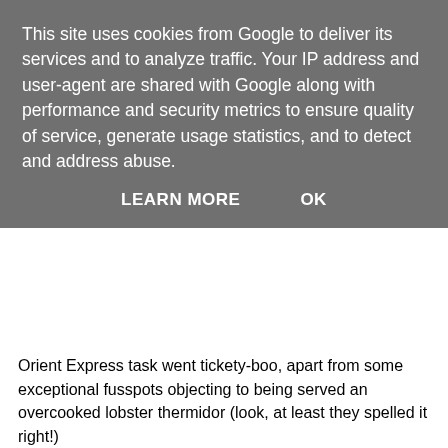This site uses cookies from Google to deliver its services and to analyze traffic. Your IP address and user-agent are shared with Google along with performance and security metrics to ensure quality of service, generate usage statistics, and to detect and address abuse.
LEARN MORE   OK
Orient Express task went tickety-boo, apart from some exceptional fusspots objecting to being served an overcooked lobster thermidor (look, at least they spelled it right!)
We've been with them on the lows (various hospital emergencies, scaloops) and the highs (impeccable Orient Express service). Only for Raymond to inform us at the last they'd lost out to the Not Terribly Cheerful Souls.
As we'd thought, we spent most of last night wanting to smack Michele. Murder on the Orient Express? We wish!
Michele: “Russell, Russell. I’ve bought these gifts and I’m not sure which paper to wrap them in. Should I choose black-and-white or tissue paper? I just don’t want it to look too girly!”
Russell (through gritted teeth, up to his eyeballs in